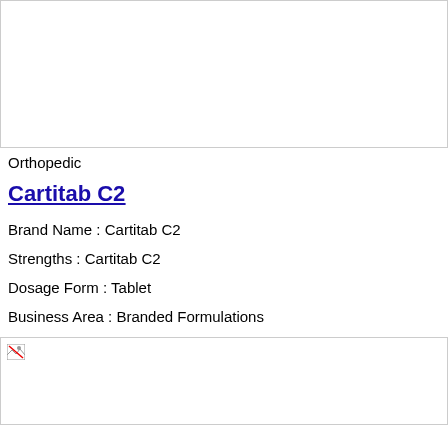[Figure (photo): Top image placeholder (broken/empty image)]
Orthopedic
Cartitab C2
Brand Name : Cartitab C2
Strengths : Cartitab C2
Dosage Form : Tablet
Business Area : Branded Formulations
[Figure (photo): Bottom image placeholder (broken/empty image)]